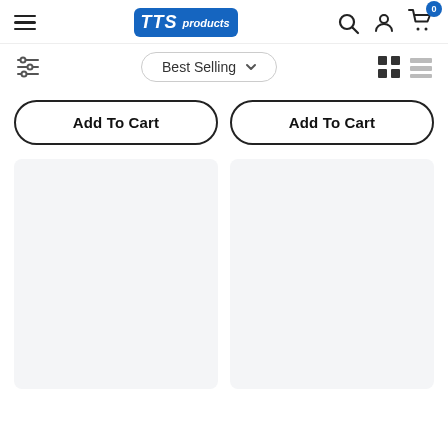[Figure (screenshot): TTS Products e-commerce website header with hamburger menu, TTS Products logo in blue, search icon, user account icon, and shopping cart icon with badge showing 0]
[Figure (screenshot): Filter/sort bar with filter sliders icon on left, 'Best Selling' dropdown in center, and grid/list view toggle icons on right]
Add To Cart
Add To Cart
[Figure (screenshot): Two light gray placeholder product card panels side by side]